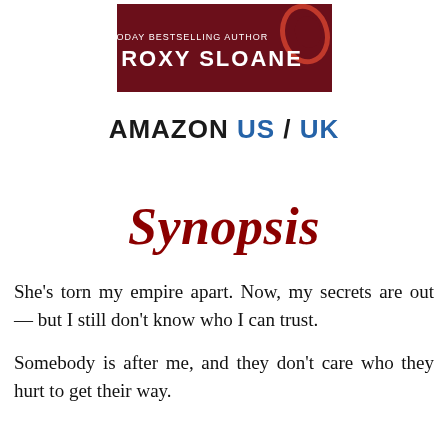[Figure (logo): Author banner with dark red background and Roxy Sloane branding. Text reads: USA TODAY BESTSELLING AUTHOR ROXY SLOANE with a red/maroon oval logo mark on the right.]
AMAZON US / UK
Synopsis
She's torn my empire apart. Now, my secrets are out — but I still don't know who I can trust.

Somebody is after me, and they don't care who they hurt to get their way.